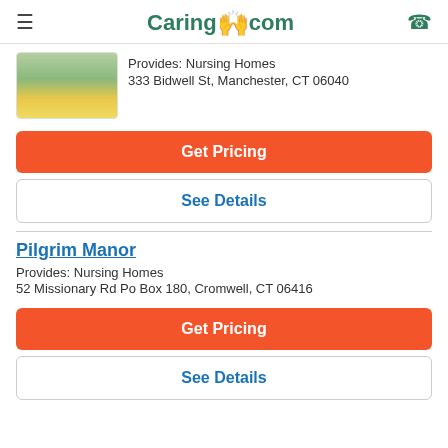Caring.com
[Figure (photo): Exterior photo of nursing home with flowers in foreground]
Provides: Nursing Homes
333 Bidwell St, Manchester, CT 06040
Get Pricing
See Details
Pilgrim Manor
Provides: Nursing Homes
52 Missionary Rd Po Box 180, Cromwell, CT 06416
Get Pricing
See Details